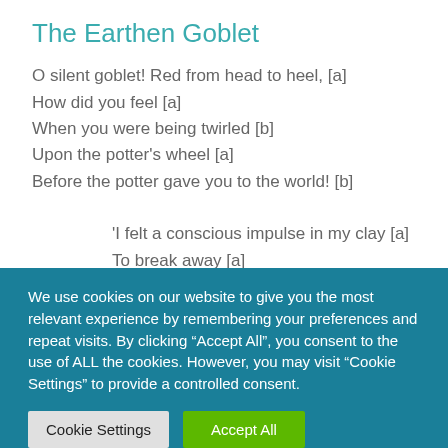The Earthen Goblet
O silent goblet! Red from head to heel, [a]
How did you feel [a]
When you were being twirled [b]
Upon the potter's wheel [a]
Before the potter gave you to the world! [b]

'I felt a conscious impulse in my clay [a]
To break away [a]
From the great potter's hand [b]
We use cookies on our website to give you the most relevant experience by remembering your preferences and repeat visits. By clicking “Accept All”, you consent to the use of ALL the cookies. However, you may visit “Cookie Settings” to provide a controlled consent.